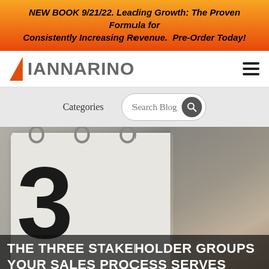NEW BOOK 9/21/22. Leading Growth: The Proven Formula for Consistently Increasing Revenue. Pre-Order Today!
[Figure (logo): Iannarino logo with orange triangle and gray text, hamburger menu icon on right]
Categories   Search Blog
[Figure (photo): A hand holding a binder/clipboard showing number 3, with blurred outdoor background]
THE THREE STAKEHOLDER GROUPS YOUR SALES PROCESS SERVES